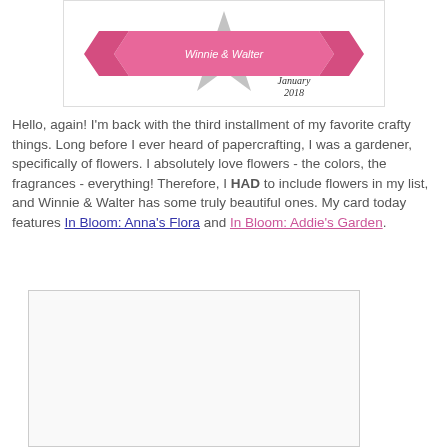[Figure (illustration): Decorative banner/badge with pink ribbon and text 'January 2018' in script font, with glittery star/badge design]
Hello, again! I'm back with the third installment of my favorite crafty things. Long before I ever heard of papercrafting, I was a gardener, specifically of flowers. I absolutely love flowers - the colors, the fragrances - everything! Therefore, I HAD to include flowers in my list, and Winnie & Walter has some truly beautiful ones. My card today features In Bloom: Anna's Flora and In Bloom: Addie's Garden.
[Figure (photo): A card craft project image, mostly white/blank area shown]